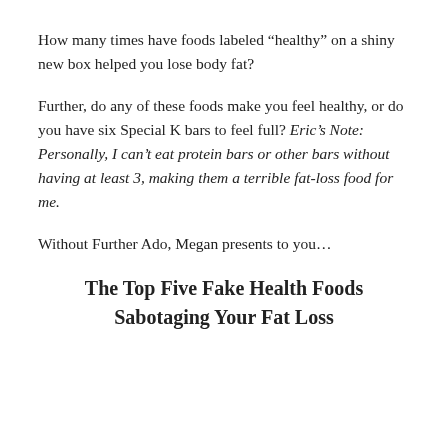How many times have foods labeled “healthy” on a shiny new box helped you lose body fat?
Further, do any of these foods make you feel healthy, or do you have six Special K bars to feel full? Eric’s Note: Personally, I can’t eat protein bars or other bars without having at least 3, making them a terrible fat-loss food for me.
Without Further Ado, Megan presents to you…
The Top Five Fake Health Foods Sabotaging Your Fat Loss